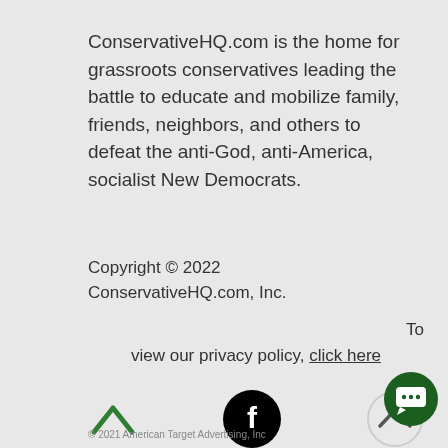ConservativeHQ.com is the home for grassroots conservatives leading the battle to educate and mobilize family, friends, neighbors, and others to defeat the anti-God, anti-America, socialist New Democrats.
Copyright © 2022 ConservativeHQ.com, Inc.
To view our privacy policy, click here
[Figure (other): Green upward chevron icon, black Facebook circle icon, and gray outlined upward chevron icon in a row]
[Figure (other): Dark green circle chat bubble icon (bottom right)]
© 2021 American Target Advertising, Inc